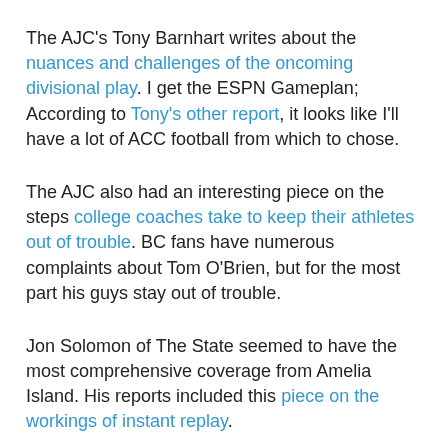The AJC's Tony Barnhart writes about the nuances and challenges of the oncoming divisional play. I get the ESPN Gameplan; According to Tony's other report, it looks like I'll have a lot of ACC football from which to chose.
The AJC also had an interesting piece on the steps college coaches take to keep their athletes out of trouble. BC fans have numerous complaints about Tom O'Brien, but for the most part his guys stay out of trouble.
Jon Solomon of The State seemed to have the most comprehensive coverage from Amelia Island. His reports included this piece on the workings of instant replay.
Jon also had the latest on the flag controversy in South Carolina. As long as the flag is an issue, Greenville will not host the ACC Baseball tournament. This only increases the chances of playing the games at Fenway Park.